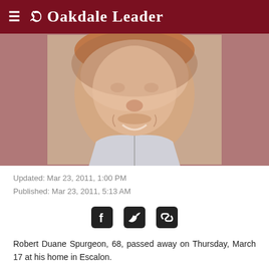Oakdale Leader
[Figure (photo): Portrait photo of Robert Duane Spurgeon, a man with a mustache smiling, wearing a light-colored collared shirt, against a reddish-brown background]
Updated: Mar 23, 2011, 1:00 PM
Published: Mar 23, 2011, 5:13 AM
[Figure (infographic): Social sharing icons: Facebook, Twitter, and link/chain icon]
Robert Duane Spurgeon, 68, passed away on Thursday, March 17 at his home in Escalon.
He was born on Nov. 13, 1942 in Stockton and had been a resident of Escalon